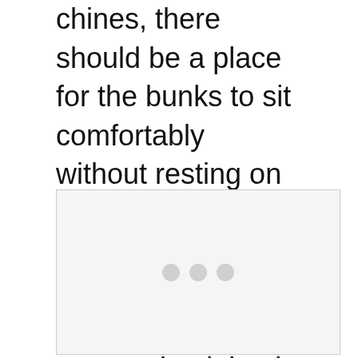chines, there should be a place for the bunks to sit comfortably without resting on them. Some trailers can be difficult to work with, but my personal opinion is to avoid having the jet ski chines rest on the bunks. You can often tell it’s not resting right if the jet ski sits crooked on the trailer.
[Figure (photo): A photo placeholder showing a light gray rectangle with three small gray dots in the center, representing an image that is loading or unavailable.]